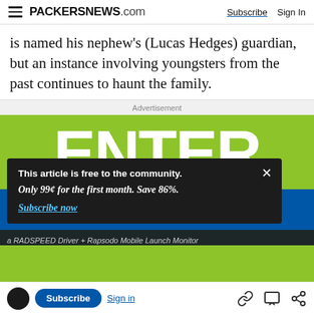PACKERSNEWS.com | Subscribe | Sign In
is named his nephew's (Lucas Hedges) guardian, but an instance involving youngsters from the past continues to haunt the family.
Advertisement
[Figure (illustration): Green advertisement banner with large white 'ENTER' text and blue stripe below, for a Cobra RADSPEED Driver + Rapsodo Mobile Launch Monitor contest]
This article is free to the community.
Only 99¢ for the first month. Save 86%.
Subscribe now
Subscribe | Sign in